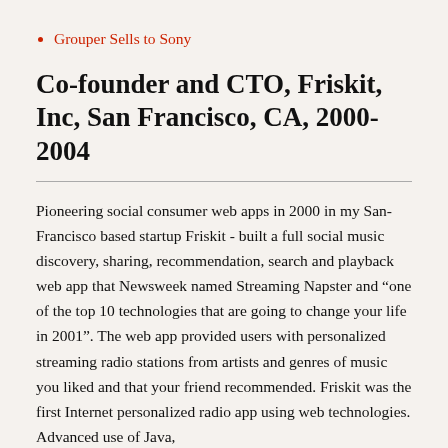Grouper Sells to Sony
Co-founder and CTO, Friskit, Inc, San Francisco, CA, 2000-2004
Pioneering social consumer web apps in 2000 in my San-Francisco based startup Friskit - built a full social music discovery, sharing, recommendation, search and playback web app that Newsweek named Streaming Napster and “one of the top 10 technologies that are going to change your life in 2001”. The web app provided users with personalized streaming radio stations from artists and genres of music you liked and that your friend recommended. Friskit was the first Internet personalized radio app using web technologies. Advanced use of Java,